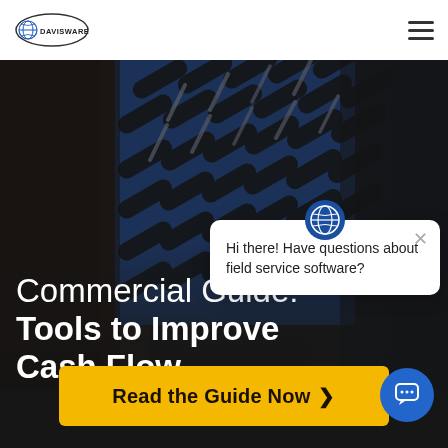[Figure (logo): Davisware logo — globe icon with oval border and DAVISWARE text]
[Figure (photo): Close-up of blue metal slotted panel with drill bits visible through the slots, blurred dark background showing a person wearing plaid]
Commercial Guide: Tools to Improve Cash Flow
[Figure (screenshot): Chat popup widget with Davisware icon, text 'Hi there! Have questions about field service software?' and a close button]
Read the Guide Now >